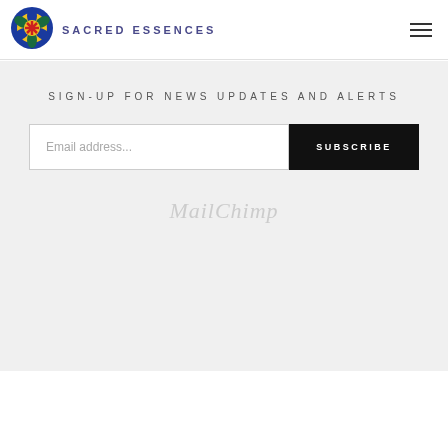[Figure (logo): Sacred Essences logo: circular mandala/flower shape with blue outer ring, yellow inner, red asterisk center]
SACRED ESSENCES
[Figure (other): Hamburger menu icon (three horizontal lines)]
SIGN-UP FOR NEWS UPDATES AND ALERTS
[Figure (other): Email address input field with placeholder text 'Email address...' and black SUBSCRIBE button]
[Figure (logo): MailChimp logo in light gray cursive/italic text]